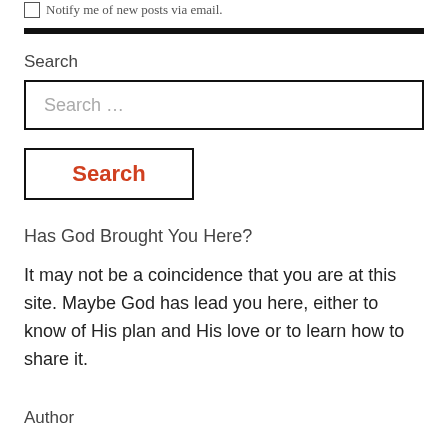Notify me of new posts via email.
Search
Search …
Search
Has God Brought You Here?
It may not be a coincidence that you are at this site. Maybe God has lead you here, either to know of His plan and His love or to learn how to share it.
Author